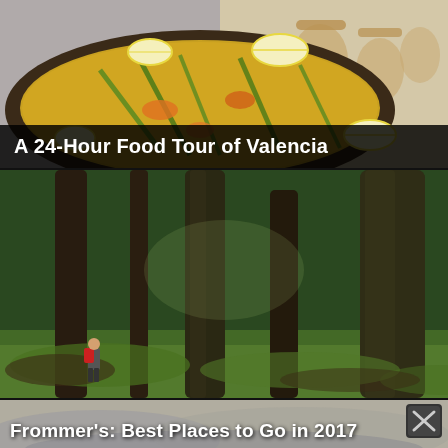[Figure (photo): A large pan of paella with lemon wedges on top, served in a restaurant setting with chairs visible in the background]
A 24-Hour Food Tour of Valencia
[Figure (photo): A lush green moss-covered old-growth forest with tall trees; a hiker with a red backpack visible in the lower left]
[Figure (photo): Partially visible landscape photo (bottom card), partially obscured, with a close/dismiss button]
Frommer's: Best Places to Go in 2017